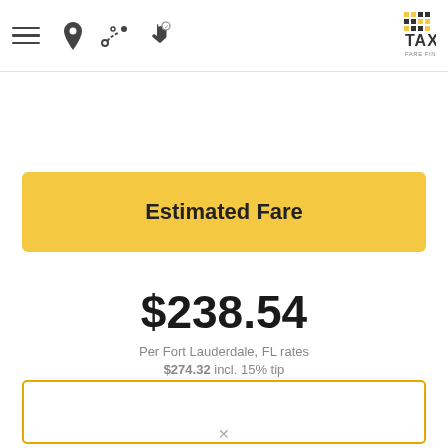Taxi Fare Finder app header with menu, location, route, and hand icons, and TAXI FARE FINDER logo
Estimated Fare
$238.54
Per Fort Lauderdale, FL rates
$274.32 incl. 15% tip